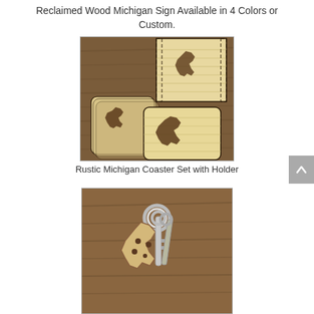Reclaimed Wood Michigan Sign Available in 4 Colors or Custom.
[Figure (photo): Rustic Michigan Coaster Set with Holder — wooden coasters with Michigan state shape engraved, in a matching wooden box holder, on a wood table surface.]
Rustic Michigan Coaster Set with Holder
[Figure (photo): Michigan state shaped wooden keychain with metal key ring and a regular key attached, on a wood surface.]